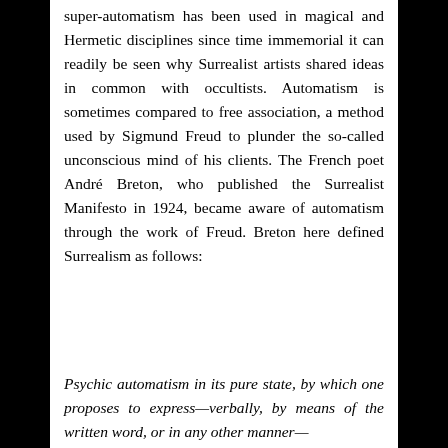super-automatism has been used in magical and Hermetic disciplines since time immemorial it can readily be seen why Surrealist artists shared ideas in common with occultists. Automatism is sometimes compared to free association, a method used by Sigmund Freud to plunder the so-called unconscious mind of his clients. The French poet André Breton, who published the Surrealist Manifesto in 1924, became aware of automatism through the work of Freud. Breton here defined Surrealism as follows:
Psychic automatism in its pure state, by which one proposes to express—verbally, by means of the written word, or in any other manner—